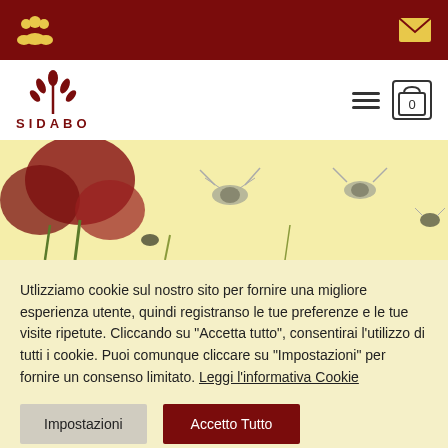[Figure (screenshot): Dark red top navigation bar with people icon (yellow) on left and envelope icon (yellow) on right]
[Figure (logo): SIDABO logo with dark red wheat/plant icon above the text SIDABO in spaced capitals]
[Figure (photo): Banner image on pale yellow background showing illustrated insects and red poppies]
Utlizziamo cookie sul nostro sito per fornire una migliore esperienza utente, quindi registranso le tue preferenze e le tue visite ripetute. Cliccando su "Accetta tutto", consentirai l'utilizzo di tutti i cookie. Puoi comunque cliccare su "Impostazioni" per fornire un consenso limitato. Leggi l'informativa Cookie
Impostazioni
Accetto Tutto